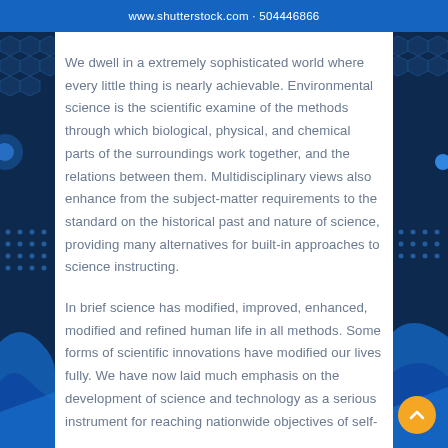www.shutterstock.com · 504446866
We dwell in a extremely sophisticated world where every little thing is nearly achievable. Environmental science is the scientific examine of the methods through which biological, physical, and chemical parts of the surroundings work together, and the relations between them. Multidisciplinary views also enhance from the subject-matter requirements to the standard on the historical past and nature of science, providing many alternatives for built-in approaches to science instructing.
In brief science has modified, improved, enhanced, modified and refined human life in all methods. Some forms of scientific innovations have modified our lives fully. We have now laid much emphasis on the development of science and technology as a serious instrument for reaching nationwide objectives of self-